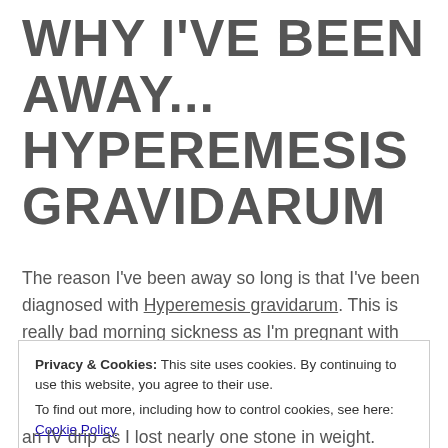WHY I'VE BEEN AWAY... HYPEREMESIS GRAVIDARUM
The reason I've been away so long is that I've been diagnosed with Hyperemesis gravidarum. This is really bad morning sickness as I'm pregnant with baby Denny no.2. Kate Middleton, the Duchess of Cambridge, was also said to have suffered with this when she was pregnant with Prince George. I've been unable to keep anything down for around three weeks and needed to
Privacy & Cookies: This site uses cookies. By continuing to use this website, you agree to their use.
To find out more, including how to control cookies, see here: Cookie Policy
an IV drip as I lost nearly one stone in weight.